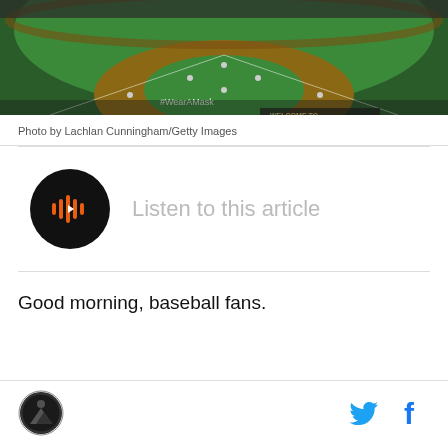[Figure (photo): Baseball stadium aerial/field view with players on field, green grass and dirt infield visible, text '#WearAMask' and 'WELCOME TO' visible on signage]
Photo by Lachlan Cunningham/Getty Images
[Figure (other): Audio player button - circular black button with orange play/sound wave icon]
Listen to this article
Good morning, baseball fans.
[Figure (logo): Site logo - circular badge with mountain/landscape scene]
[Figure (other): Twitter bird icon in blue]
[Figure (other): Facebook f icon in blue]